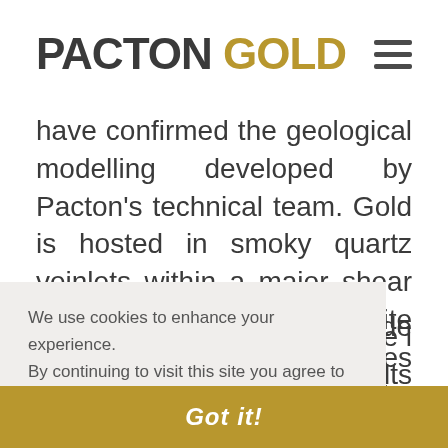PACTON GOLD
have confirmed the geological modelling developed by Pacton's technical team. Gold is hosted in smoky quartz veinlets within a major shear zone hosted in quartz-sericite schist. Mineralization includes arsenopyrite, realgar, pyrite and visible gold.
We use cookies to enhance your experience. By continuing to visit this site you agree to our use of cookies. Learn more
Got it!
The program will include 11,500 m of